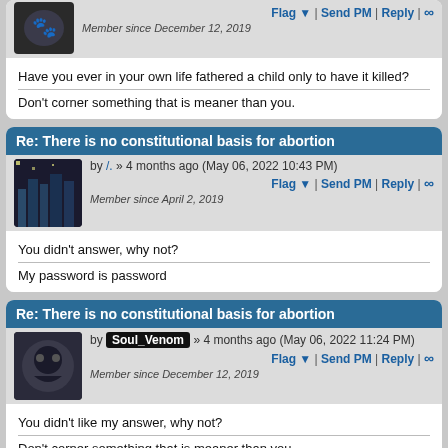Member since December 12, 2019
Have you ever in your own life fathered a child only to have it killed?
Don't corner something that is meaner than you.
Re: There is no constitutional basis for abortion
by /. » 4 months ago (May 06, 2022 10:43 PM)
Member since April 2, 2019
You didn't answer, why not?
My password is password
Re: There is no constitutional basis for abortion
by Soul_Venom » 4 months ago (May 06, 2022 11:24 PM)
Member since December 12, 2019
You didn't like my answer, why not?
Don't corner something that is meaner than you.
Re: There is no constitutional basis for abortion